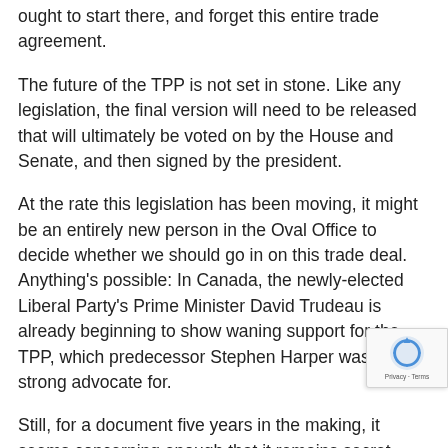ought to start there, and forget this entire trade agreement.
The future of the TPP is not set in stone. Like any legislation, the final version will need to be released that will ultimately be voted on by the House and Senate, and then signed by the president.
At the rate this legislation has been moving, it might be an entirely new person in the Oval Office to decide whether we should go in on this trade deal. Anything's possible: In Canada, the newly-elected Liberal Party's Prime Minister David Trudeau is already beginning to show waning support for the TPP, which predecessor Stephen Harper was a strong advocate for.
Still, for a document five years in the making, it seems concerning enough that it remains secret, contains impactful changes to intellectual properties, and fra...